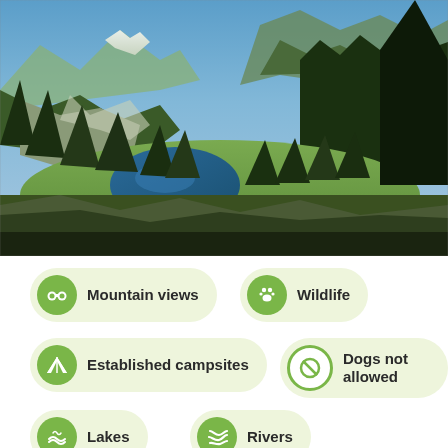[Figure (photo): Mountain landscape with alpine lake in a green valley surrounded by evergreen forests and rocky peaks under a blue sky]
Mountain views
Wildlife
Established campsites
Dogs not allowed
Lakes
Rivers